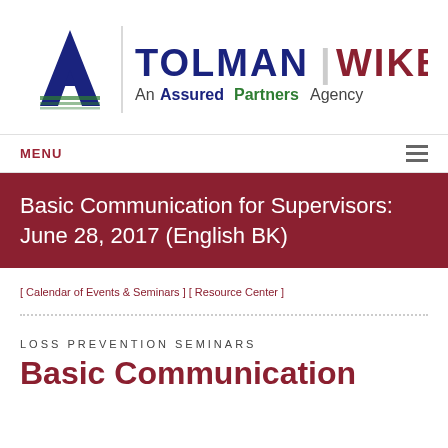[Figure (logo): Tolman Wiker - An AssuredPartners Agency logo with blue letter A and horizontal lines]
MENU
Basic Communication for Supervisors: June 28, 2017 (English BK)
[ Calendar of Events & Seminars ] [ Resource Center ]
LOSS PREVENTION SEMINARS
Basic Communication